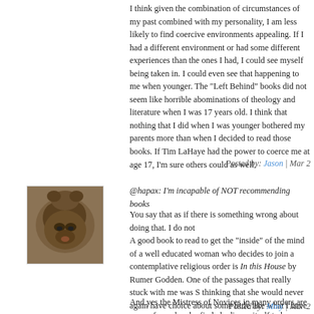I think given the combination of circumstances of my past combined with my personality, I am less likely to find coercive environments appealing. If I had a different environment or had some different experiences than the ones I had, I could see myself being taken in. I could even see that happening to me when younger. The "Left Behind" books did not seem like horrible abominations of theology and literature when I was 17 years old. I think that nothing that I did when I was younger bothered my parents more than when I decided to read those books. If Tim LaHaye had the power to coerce me at age 17, I'm sure others could as well.
Posted by: Jason | Mar 2
[Figure (photo): Small avatar photo of a brown furry animal or pet, square crop with dark tones]
@hapax: I'm incapable of NOT recommending books
You say that as if there is something wrong about doing that. I do not
A good book to read to get the "inside" of the mind of a well educated woman who decides to join a contemplative religious order is In this House by Rumer Godden. One of the passages that really stuck with me was S thinking that she would never again have choice about some little like what I have with dinner."
And yes the Mistress of Novices in many orders are wary of people who find obedience itself to be addictive/attractive.
Posted by: Mmy | Mar 2